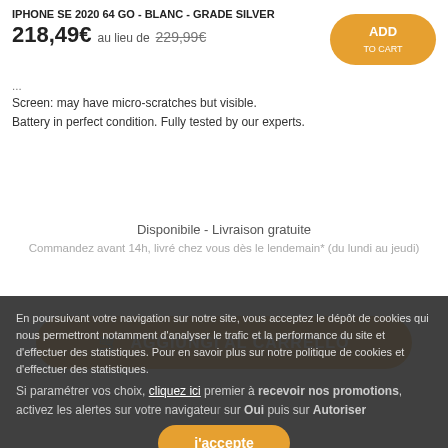IPHONE SE 2020 64 GO - BLANC - GRADE SILVER
218,49€ au lieu de 229,99€
Screen: may have micro-scratches but visible.
Battery in perfect condition. Fully tested by our experts.
🛒 AGGIUNGI AL CARRELLO
Disponibile - Livraison gratuite
Commandez avant 14h, livré chez vous dès le lendemain* (du lundi au jeudi)
[Figure (other): Teal background sections with heart icon on left and gear icon on right]
En poursuivant votre navigation sur notre site, vous acceptez le dépôt de cookies qui nous permettront notamment d'analyser le trafic et la performance du site et d'effectuer des statistiques. Pour en savoir plus sur notre politique de cookies et si paramétrer vos choix, cliquez ici.
Si paramétrer vos choix, cliquez ici premier à recevoir nos promotions, activez les alertes sur votre navigateur sur Oui puis sur Autoriser
j'accepte